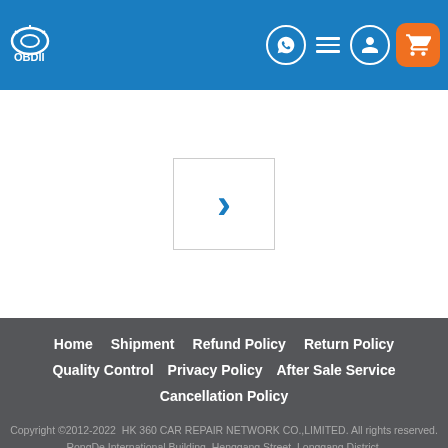OBDII — header navigation with logo, icons (WhatsApp, menu, account, cart)
[Figure (screenshot): Navigation arrow (chevron right) inside a bordered box — pagination or next-page control]
Home  Shipment  Refund Policy  Return Policy  Quality Control  Privacy Policy  After Sale Service  Cancellation Policy  Copyright ©2012-2022  HK 360 CAR REPAIR NETWORK CO.,LIMITED. All rights reserved. RongDe International Building, Henggang Street, Longgang District, Shenzhen City, Guangdong Province   Tel: +86 18054815707   E-Mail: Sales@OBDIItool.co.uk